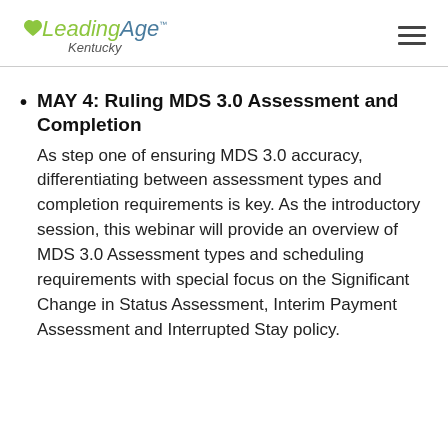LeadingAge Kentucky
MAY 4: Ruling MDS 3.0 Assessment and Completion — As step one of ensuring MDS 3.0 accuracy, differentiating between assessment types and completion requirements is key. As the introductory session, this webinar will provide an overview of MDS 3.0 Assessment types and scheduling requirements with special focus on the Significant Change in Status Assessment, Interim Payment Assessment and Interrupted Stay policy.